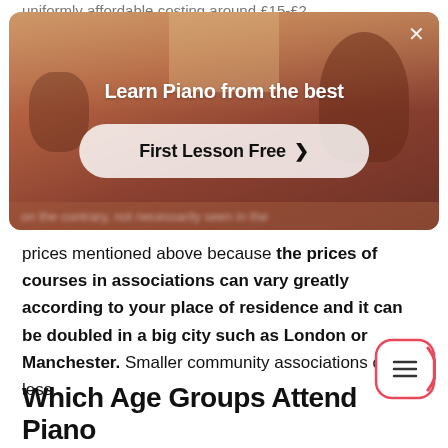uniformly affordable costing around £15-£2
[Figure (screenshot): Advertisement overlay showing 'Learn Piano from the best' with a 'First Lesson Free >' CTA button, on a warm reddish-brown photo background of a person playing piano.]
prices mentioned above because the prices of courses in associations can vary greatly according to your place of residence and it can be doubled in a big city such as London or Manchester. Smaller community associations charge less.
Which Age Groups Attend Piano